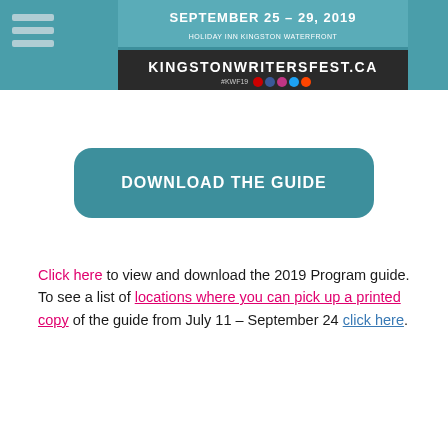[Figure (screenshot): Kingston Writers Fest banner showing 'SEPTEMBER 25-29, 2019 HOLIDAY INN KINGSTON WATERFRONT' and 'KINGSTONWRITERSFEST.CA #KWF19' with social media icons, on a teal background. Left side has a hamburger menu icon.]
[Figure (other): Teal rounded rectangle button with text 'DOWNLOAD THE GUIDE' in white uppercase letters]
Click here to view and download the 2019 Program guide. To see a list of locations where you can pick up a printed copy of the guide from July 11 – September 24 click here.